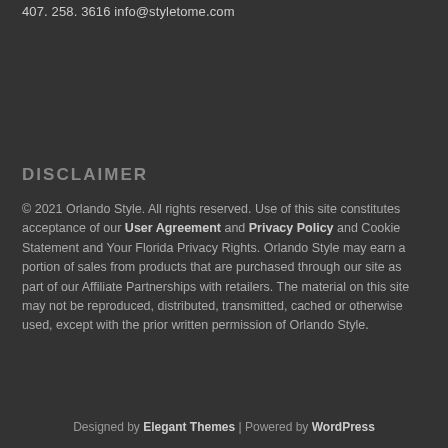407. 258. 3616 info@styletome.com
DISCLAIMER
© 2021 Orlando Style. All rights reserved. Use of this site constitutes acceptance of our User Agreement and Privacy Policy and Cookie Statement and Your Florida Privacy Rights. Orlando Style may earn a portion of sales from products that are purchased through our site as part of our Affiliate Partnerships with retailers. The material on this site may not be reproduced, distributed, transmitted, cached or otherwise used, except with the prior written permission of Orlando Style.
Designed by Elegant Themes | Powered by WordPress